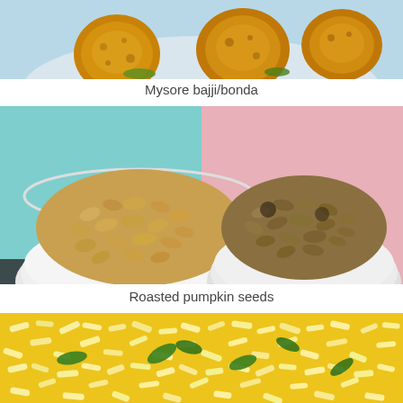[Figure (photo): Mysore bajji/bonda — fried golden dumplings on a white plate, partial view from top]
Mysore bajji/bonda
[Figure (photo): Two white bowls filled with roasted pumpkin seeds on a colorful background (teal and pink)]
Roasted pumpkin seeds
[Figure (photo): Close-up of yellow fried snack mix (murmura/puffed rice mixture) with green curry leaves on a white plate]